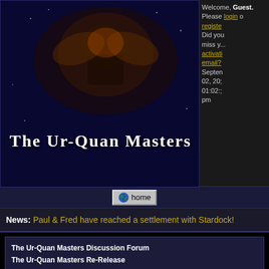The Ur-Quan Masters
Welcome, Guest. Please login or register. Did you miss your activation email? September 02, 2023 01:02: pm
[Figure (logo): The Ur-Quan Masters game logo with fantasy character artwork on dark blue background]
home
News: Paul & Fred have reached a settlement with Stardock!
The Ur-Quan Masters Discussion Forum
The Ur-Quan Masters Re-Release
Starbase Café (Moderator: Death 999)
A Little Code-Breaking Problem
« previous next »
Pages: 1 [2]
| Author | Topic: A Little Code-Breaking Problem  (Read 9102 times) |
| --- | --- |
| Elvish | Re: A Little Code-Breaking Problem |